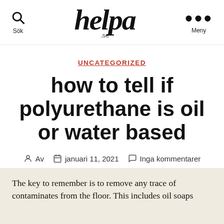helpa .se
UNCATEGORIZED
how to tell if polyurethane is oil or water based
Av  januari 11, 2021  Inga kommentarer
The key to remember is to remove any trace of contaminates from the floor. This includes oil soaps